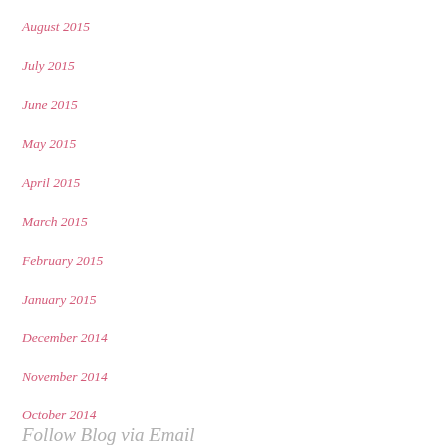August 2015
July 2015
June 2015
May 2015
April 2015
March 2015
February 2015
January 2015
December 2014
November 2014
October 2014
Follow Blog via Email